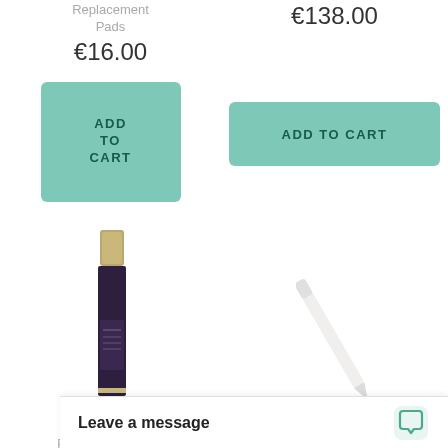Replacement Pads
€16.00
€138.00
ADD TO CART
ADD TO CART
[Figure (photo): Slim dark bottle product image — Margaret Dabbs Professional Foot Filler Replacement Pads]
[Figure (photo): White pen or pencil product image]
Margaret Dabbs Professional Foot Filler Replacement Pads
Margaret
Leave a message